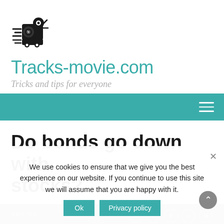[Figure (logo): Movie camera logo icon in black silhouette]
Tracks-movie.com
Tricks and tips for everyone
Navigation bar with hamburger menu
Do bonds go down with stocks?
ADVICE
We use cookies to ensure that we give you the best experience on our website. If you continue to use this site we will assume that you are happy with it.
Do bonds go down with stocks?